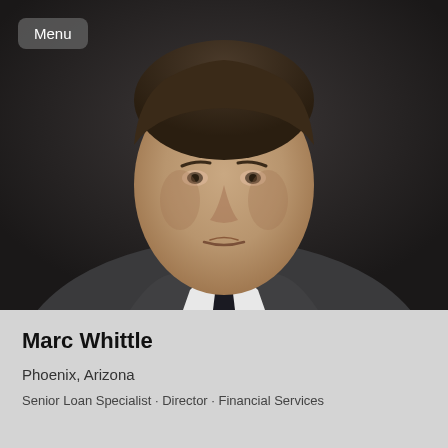[Figure (photo): Professional headshot of a young man in a dark suit, white shirt, and dark tie, against a dark background.]
Menu
Marc Whittle
Phoenix, Arizona
Senior Loan Specialist · Director · Financial Services